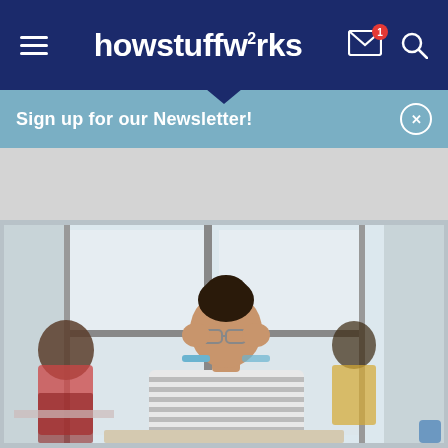howstuffworks
Sign up for our Newsletter!
[Figure (photo): A young woman with hair in a bun, wearing a striped shirt and glasses, sitting at a desk in a classroom with her hands on her temples looking stressed. Other students visible in the background near large windows.]